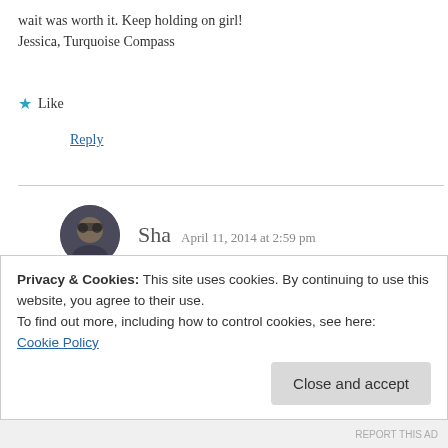wait was worth it. Keep holding on girl! Jessica, Turquoise Compass
★ Like
Reply
Sha  April 11, 2014 at 2:59 pm
Thanks!! I can't wait for me to do the same thing too!! 🙂
Privacy & Cookies: This site uses cookies. By continuing to use this website, you agree to their use.
To find out more, including how to control cookies, see here:
Cookie Policy
Close and accept
REPORT THIS AD